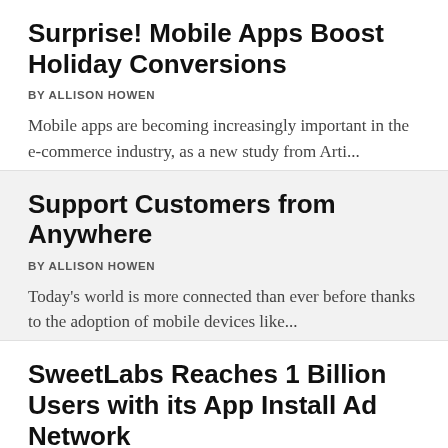Surprise! Mobile Apps Boost Holiday Conversions
BY ALLISON HOWEN
Mobile apps are becoming increasingly important in the e-commerce industry, as a new study from Arti...
Support Customers from Anywhere
BY ALLISON HOWEN
Today's world is more connected than ever before thanks to the adoption of mobile devices like...
SweetLabs Reaches 1 Billion Users with its App Install Ad Network
There's more to success with mobile applications than just the quality and utility of the fina...